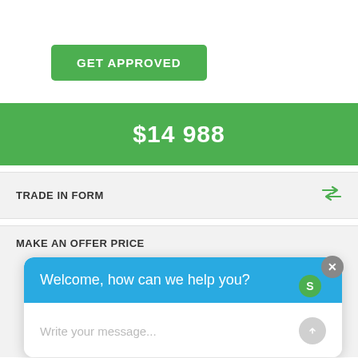GET APPROVED
$14 988
TRADE IN FORM
MAKE AN OFFER PRICE
Welcome, how can we help you?
Write your message...